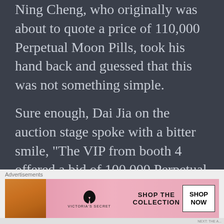Ning Cheng, who originally was about to quote a price of 110,000 Perpetual Moon Pills, took his hand back and guessed that this was not something simple.
Sure enough, Dai Jia on the auction stage spoke with a bitter smile, “The VIP from booth 4 offered a bid of 100,000 Perpetual Moon Pills. Is there any higher bid? If not, then this Starry Sky Directional Sphere belongs to this friend.”
Advertisements
[Figure (screenshot): WordPress advertisement banner: 'Opinions. We all have them!' with WordPress logo and circular badge icon on dark navy background]
Advertisements
[Figure (screenshot): Victoria's Secret advertisement banner: 'SHOP THE COLLECTION' with 'SHOP NOW' button on pink gradient background with model]